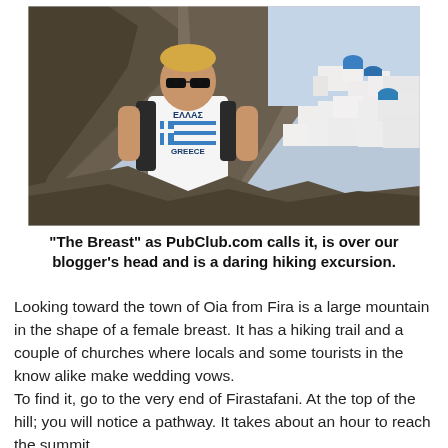[Figure (photo): A man wearing sunglasses and a white Greece (ΕΛΛΑΣ) t-shirt with a Greek flag design stands in the foreground. Behind him is a dramatic rocky hillside with white Cycladic buildings and blue-domed structures typical of Santorini, Greece. The background shows the cliffside town with the sea visible.]
“The Breast” as PubClub.com calls it, is over our blogger’s head and is a daring hiking excursion.
Looking toward the town of Oia from Fira is a large mountain in the shape of a female breast. It has a hiking trail and a couple of churches where locals and some tourists in the know alike make wedding vows.
To find it, go to the very end of Firastafani. At the top of the hill; you will notice a pathway. It takes about an hour to reach the summit.